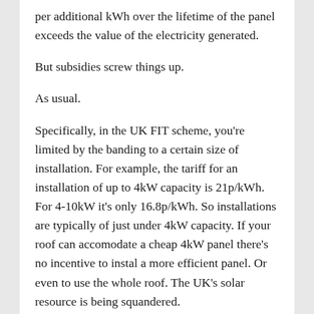per additional kWh over the lifetime of the panel exceeds the value of the electricity generated.
But subsidies screw things up.
As usual.
Specifically, in the UK FIT scheme, you're limited by the banding to a certain size of installation. For example, the tariff for an installation of up to 4kW capacity is 21p/kWh. For 4-10kW it's only 16.8p/kWh. So installations are typically of just under 4kW capacity. If your roof can accomodate a cheap 4kW panel there's no incentive to instal a more efficient panel. Or even to use the whole roof. The UK's solar resource is being squandered.